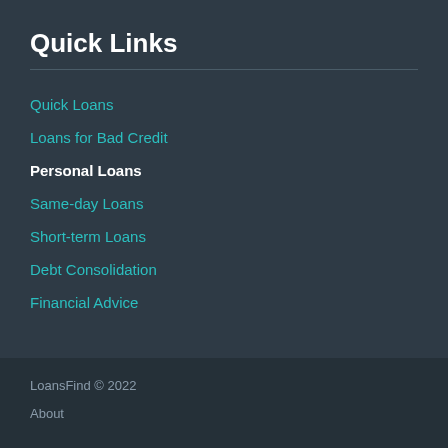Quick Links
Quick Loans
Loans for Bad Credit
Personal Loans
Same-day Loans
Short-term Loans
Debt Consolidation
Financial Advice
LoansFind © 2022
About